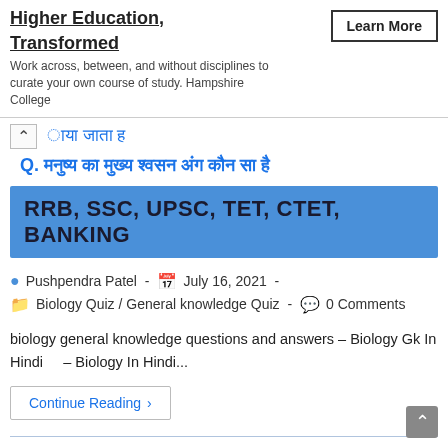[Figure (screenshot): Ad banner for Hampshire College with 'Higher Education, Transformed' heading and Learn More button]
ाया जाता ह
Q. मनुष्य का मुख्य श्वसन अंग कौन सा है
RRB, SSC, UPSC, TET, CTET, BANKING
Pushpendra Patel  -  July 16, 2021  -
Biology Quiz / General knowledge Quiz  -  0 Comments
biology general knowledge questions and answers – Biology Gk In Hindi‌‌‌‌ ‌‌‌‌‌‌‌‌‌‌ ‌‌‌‌‌‌‌‌‌‌‌‌‌‌‌‌ ‌‌‌‌‌‌‌‌ ‌‌‌‌‌ – Biology In Hindi‌‌‌‌‌‌‌‌‌‌‌‌...
Continue Reading ›
Biology important question & a...